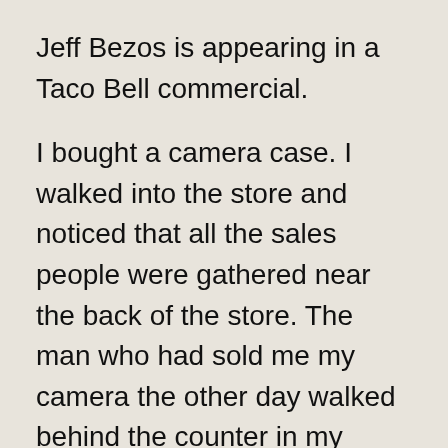Jeff Bezos is appearing in a Taco Bell commercial.
I bought a camera case. I walked into the store and noticed that all the sales people were gathered near the back of the store. The man who had sold me my camera the other day walked behind the counter in my general direction, looking at me suspiciously. He helped me select a case and we went over to the cash register. He pointed at my camera and said, “Those are nice little cameras,” making small talk. “Yep, you sold it to me.” “I thought you looked familiar.” Then he pointed